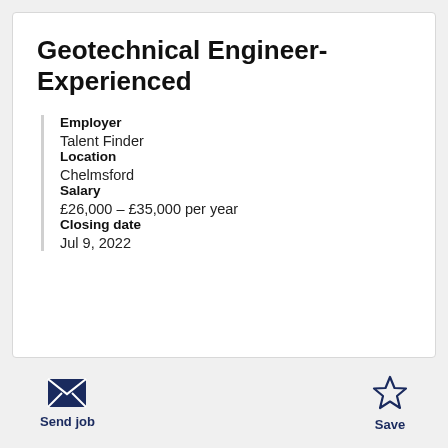Geotechnical Engineer- Experienced
Employer
Talent Finder
Location
Chelmsford
Salary
£26,000 – £35,000 per year
Closing date
Jul 9, 2022
Send job
Save